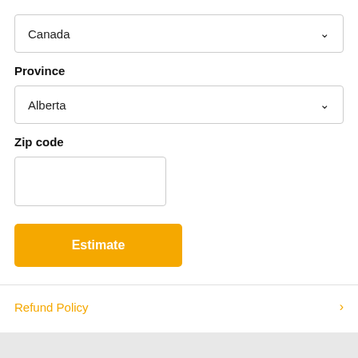Canada
Province
Alberta
Zip code
Estimate
Refund Policy